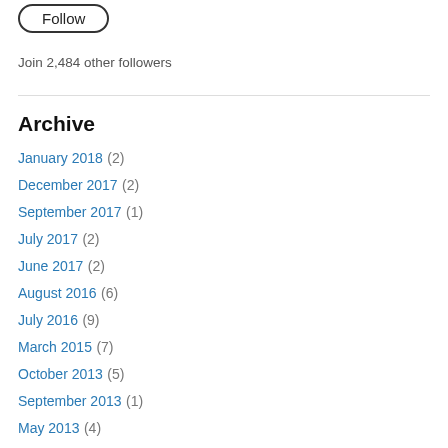Follow
Join 2,484 other followers
Archive
January 2018 (2)
December 2017 (2)
September 2017 (1)
July 2017 (2)
June 2017 (2)
August 2016 (6)
July 2016 (9)
March 2015 (7)
October 2013 (5)
September 2013 (1)
May 2013 (4)
February 2013 (1)
October 2012 (2)